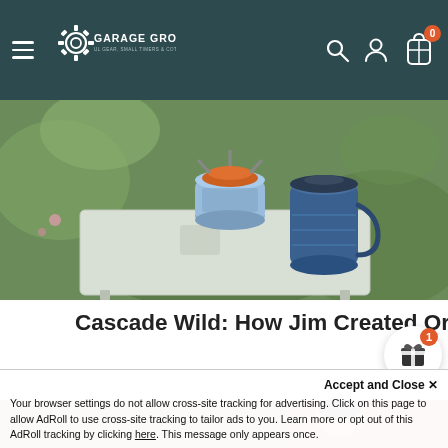Garage Grown Gear — navigation bar with hamburger menu, logo, search, account, and cart (0) icons
[Figure (photo): Outdoor camping scene showing a small white folding table with a gas canister stove (orange top), a blue gas canister, and a blue insulated mug on a moss-covered surface in a forest.]
Cascade Wild: How Jim Created Origami-Like UL Backpacking Tables
[Figure (photo): Partial view of a second article image showing a person in a red jacket outdoors, partially cropped.]
Accept and Close ✕
Your browser settings do not allow cross-site tracking for advertising. Click on this page to allow AdRoll to use cross-site tracking to tailor ads to you. Learn more or opt out of this AdRoll tracking by clicking here. This message only appears once.